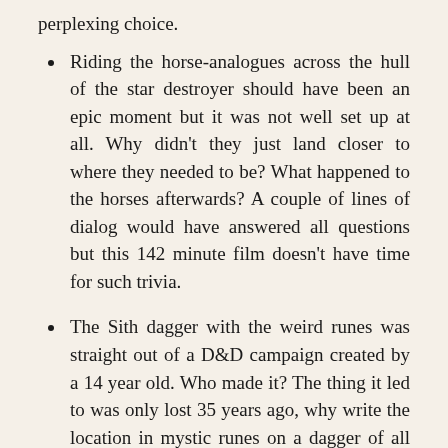perplexing choice.
Riding the horse-analogues across the hull of the star destroyer should have been an epic moment but it was not well set up at all. Why didn't they just land closer to where they needed to be? What happened to the horses afterwards? A couple of lines of dialog would have answered all questions but this 142 minute film doesn't have time for such trivia.
The Sith dagger with the weird runes was straight out of a D&D campaign created by a 14 year old. Who made it? The thing it led to was only lost 35 years ago, why write the location in mystic runes on a dagger of all things? It should have been a memo. Plus the Goonies-esque slider would only work so long as the wreck didn't collapse further and the user just happened to be standing in exactly the right spot